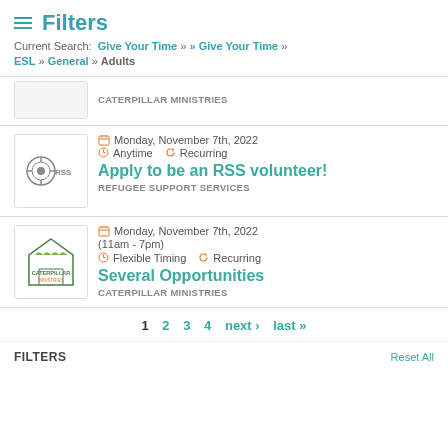Filters
Current Search: Give Your Time » » Give Your Time » ESL » General » Adults
CATERPILLAR MINISTRIES
Monday, November 7th, 2022 | Anytime | Recurring | Apply to be an RSS volunteer! | REFUGEE SUPPORT SERVICES
Monday, November 7th, 2022 (11am - 7pm) | Flexible Timing | Recurring | Several Opportunities | CATERPILLAR MINISTRIES
1 2 3 4 next › last »
FILTERS
Reset All